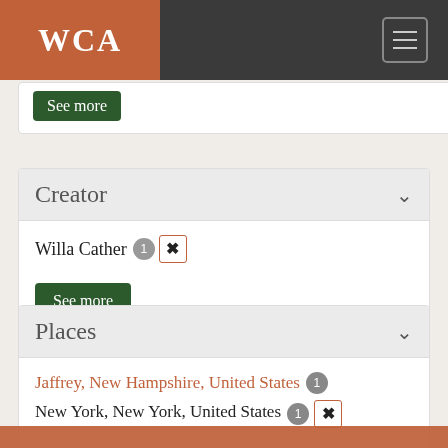WCA
Creator
Willa Cather 1 [x]
See more
Places
Jaffrey, New Hampshire, United States 1
New York, New York, United States 1 [x]
See more